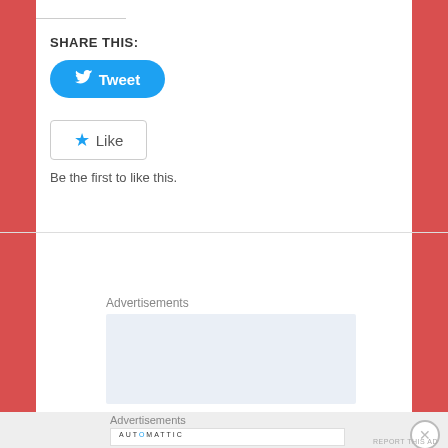SHARE THIS:
[Figure (other): Twitter Tweet button - blue rounded button with Twitter bird icon and 'Tweet' text]
[Figure (other): WordPress Like button - white bordered button with blue star icon and 'Like' text]
Be the first to like this.
Advertisements
[Figure (other): Advertisement placeholder box with light blue-grey background]
Advertisements
[Figure (other): Automattic advertisement: logo text 'AUTOMATTIC' and tagline 'Build a better web and a better world.']
REPORT THIS AD